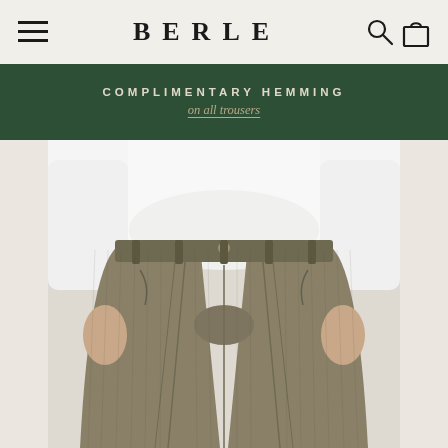BERLE
COMPLIMENTARY HEMMING on all trousers
[Figure (photo): Man wearing olive/brown corduroy pleated trousers with a white shirt, photographed from waist down showing the trouser details including pleats, waistband button, belt loops, and side pockets.]